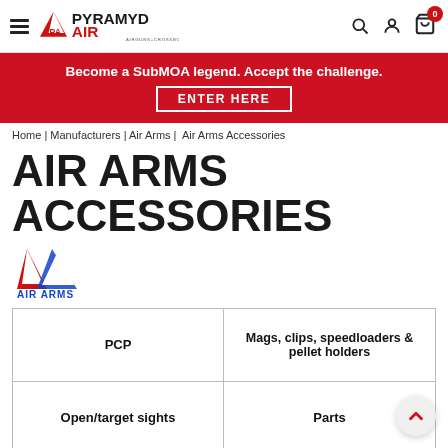[Figure (logo): Pyramyd Air logo with hamburger menu and navigation icons including search, account, and cart with badge showing 0]
[Figure (infographic): Red promotional banner reading 'Become a SubMOA legend. Accept the challenge.' with 'ENTER HERE' button]
Home | Manufacturers | Air Arms | Air Arms Accessories
AIR ARMS ACCESSORIES
[Figure (logo): Air Arms brand logo with red and blue triangular mountain/arrow design and 'AIR ARMS' text below]
| PCP | Mags, clips, speedloaders & pellet holders |
| Open/target sights | Parts |